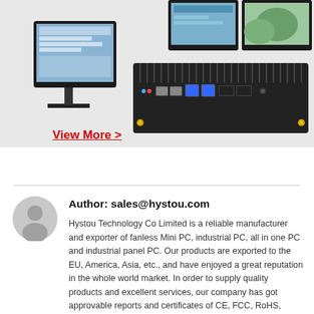[Figure (photo): Product photo showing an industrial fanless Mini PC (black box with fins) connected to multiple monitors displaying various content. The PC unit shows rear I/O ports including USB 3.0, LAN, HDMI, and audio connectors. Three monitors are visible in the background.]
View More >
Author: sales@hystou.com
Hystou Technology Co Limited is a reliable manufacturer and exporter of fanless Mini PC, industrial PC, all in one PC and industrial panel PC. Our products are exported to the EU, America, Asia, etc., and have enjoyed a great reputation in the whole world market. In order to supply quality products and excellent services, our company has got approvable reports and certificates of CE, FCC, RoHS, SGS, ISO9001 and so on. Our goal is "Innovation First, Quality First, Customer First, Service First". We are committed to providing quality products, excellent services, competitive prices